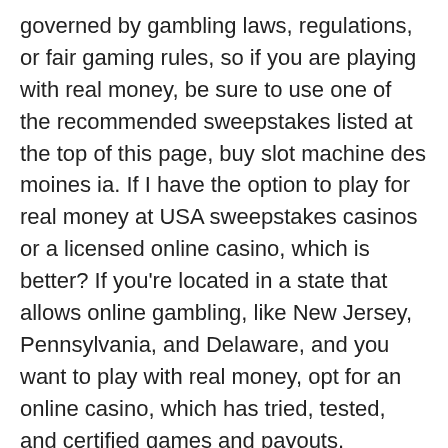governed by gambling laws, regulations, or fair gaming rules, so if you are playing with real money, be sure to use one of the recommended sweepstakes listed at the top of this page, buy slot machine des moines ia. If I have the option to play for real money at USA sweepstakes casinos or a licensed online casino, which is better? If you're located in a state that allows online gambling, like New Jersey, Pennsylvania, and Delaware, and you want to play with real money, opt for an online casino, which has tried, tested, and certified games and payouts.
BTC casino winners:
Cloud Tales - 559.7 bch
Bikini Beach - 721.9 bch
Football Champions Cup - 641 ltc
The Master Cat - 178.9 ltc
Golden Touch - 565.9 eth
Illuminous - 551.3 eth